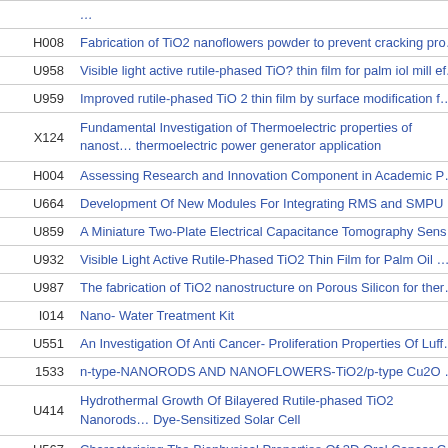| Code | Title |
| --- | --- |
| H008 | Fabrication of TiO2 nanoflowers powder to prevent cracking prob... |
| U958 | Visible light active rutile-phased TiO? thin film for palm iol mill effi... |
| U959 | Improved rutile-phased TiO 2 thin film by surface modification for... |
| X124 | Fundamental Investigation of Thermoelectric properties of nanost... thermoelectric power generator application |
| H004 | Assessing Research and Innovation Component in Academic Per... |
| U664 | Development Of New Modules For Integrating RMS and SMPU |
| U859 | A Miniature Two-Plate Electrical Capacitance Tomography Senso... |
| U932 | Visible Light Active Rutile-Phased TiO2 Thin Film for Palm Oil Mi... |
| U987 | The fabrication of TiO2 nanostructure on Porous Silicon for therm... |
| I014 | Nano- Water Treatment Kit |
| U551 | An Investigation Of Anti Cancer- Proliferation Properties Of Luffa... |
| 1533 | n-type-NANORODS AND NANOFLOWERS-TiO2/p-type Cu2O H... |
| U414 | Hydrothermal Growth Of Bilayered Rutile-phased TiO2 Nanorods... Dye-Sensitized Solar Cell |
| U567 | Characterising The Biophysical Properties Of 3D Oral Cancer C... |